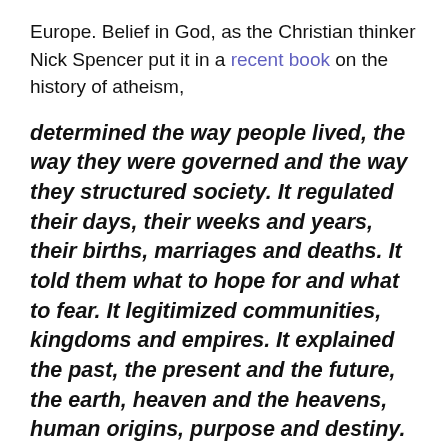Europe. Belief in God, as the Christian thinker Nick Spencer put it in a recent book on the history of atheism,
determined the way people lived, the way they were governed and the way they structured society. It regulated their days, their weeks and years, their births, marriages and deaths. It told them what to hope for and what to fear. It legitimized communities, kingdoms and empires. It explained the past, the present and the future, the earth, heaven and the heavens, human origins, purpose and destiny. It was the key in which all life, human and natural, was composed, if not necessarily